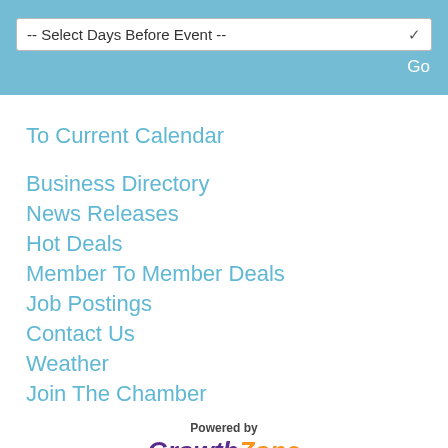[Figure (screenshot): Dropdown selector box with label '-- Select Days Before Event --' and a 'Go' button, on a light blue background]
To Current Calendar
Business Directory
News Releases
Hot Deals
Member To Member Deals
Job Postings
Contact Us
Weather
Join The Chamber
[Figure (logo): Powered by GrowthZone logo with 'Growth' in purple italic and 'Zone' in orange italic]